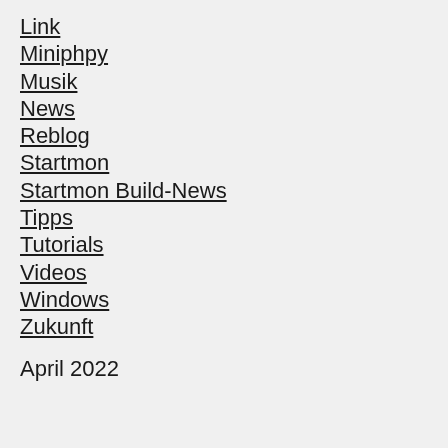Link
Miniphpy
Musik
News
Reblog
Startmon
Startmon Build-News
Tipps
Tutorials
Videos
Windows
Zukunft
April 2022